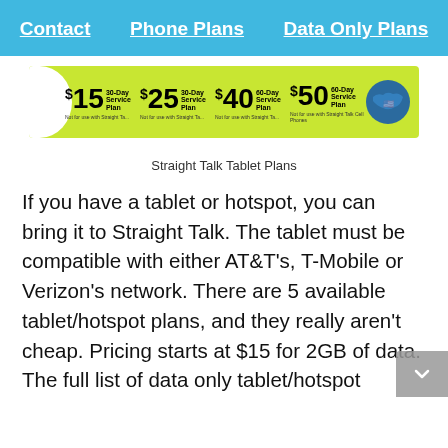Contact | Phone Plans | Data Only Plans
[Figure (photo): Straight Talk service plan card showing $15 30-Day, $25 30-Day, $40 60-Day, $50 60-Day service plans on a yellow-green background]
Straight Talk Tablet Plans
If you have a tablet or hotspot, you can bring it to Straight Talk. The tablet must be compatible with either AT&T's, T-Mobile or Verizon's network. There are 5 available tablet/hotspot plans, and they really aren't cheap. Pricing starts at $15 for 2GB of data. The full list of data only tablet/hotspot